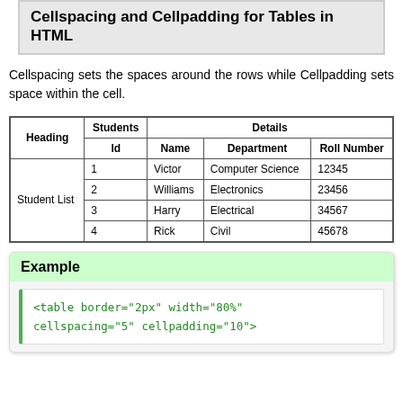Cellspacing and Cellpadding for Tables in HTML
Cellspacing sets the spaces around the rows while Cellpadding sets space within the cell.
| Heading | Students / Id | Students / Name | Details / Department | Details / Roll Number |
| --- | --- | --- | --- | --- |
| Student List | 1 | Victor | Computer Science | 12345 |
| Student List | 2 | Williams | Electronics | 23456 |
| Student List | 3 | Harry | Electrical | 34567 |
| Student List | 4 | Rick | Civil | 45678 |
Example
<table border="2px" width="80%" cellspacing="5" cellpadding="10">